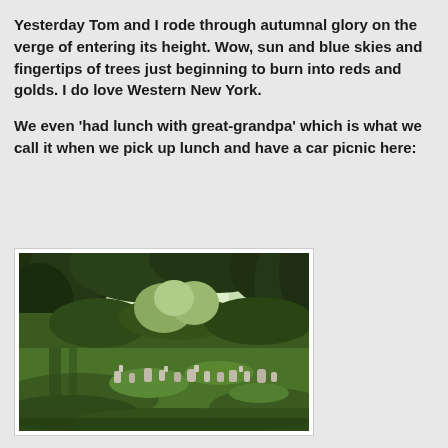Yesterday Tom and I rode through autumnal glory on the verge of entering its height. Wow, sun and blue skies and fingertips of trees just beginning to burn into reds and golds. I do love Western New York.

We even 'had lunch with great-grandpa' which is what we call it when we pick up lunch and have a car picnic here:
[Figure (photo): Outdoor cemetery scene with large trees providing shade, green grass lawn, and numerous headstones/grave markers visible across the grounds. Sunlight filters through the tree canopy.]